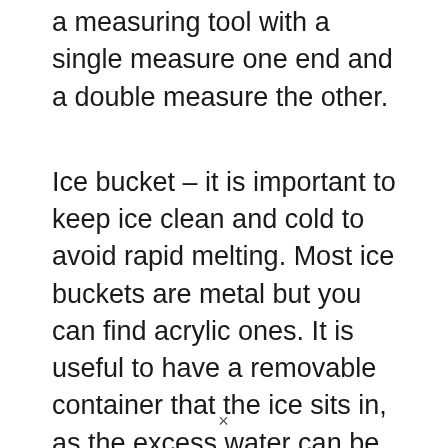a measuring tool with a single measure one end and a double measure the other.
Ice bucket – it is important to keep ice clean and cold to avoid rapid melting. Most ice buckets are metal but you can find acrylic ones. It is useful to have a removable container that the ice sits in, as the excess water can be drained into the lower compartment easily.
Bottle coolers – these not only can be used
×